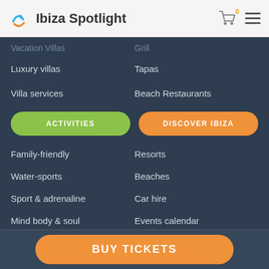Ibiza Spotlight
Luxury villas
Tapas
Villa services
Beach Restaurants
ACTIVITIES
DISCOVER IBIZA
Family-friendly
Resorts
Water-sports
Beaches
Sport & adrenaline
Car hire
Mind body & soul
Events calendar
Cycling and walking
Ibiza virgins
BUY TICKETS